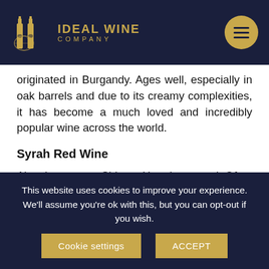[Figure (logo): Ideal Wine Company logo with two wine bottle silhouettes and a world map, gold color on dark navy background, with text IDEAL WINE COMPANY]
originated in Burgandy. Ages well, especially in oak barrels and due to its creamy complexities, it has become a much loved and incredibly popular wine across the world.
Syrah Red Wine
Also known as Shiraz, Hermitage and Côte-Rôtie, the latter notably from the Rhône region of France. This wine packs a punch with dark fruit, savoury notes and
This website uses cookies to improve your experience. We'll assume you're ok with this, but you can opt-out if you wish.
Cookie settings   ACCEPT